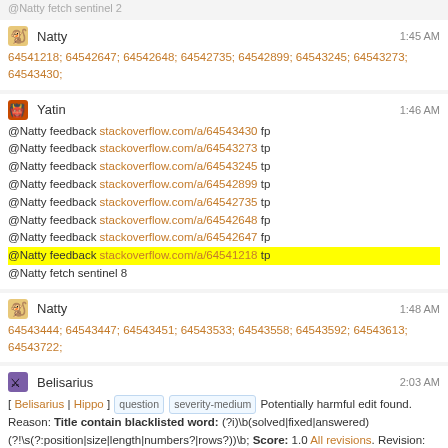@Natty fetch sentinel 2
Natty 1:45 AM
64541218; 64542647; 64542648; 64542735; 64542899; 64543245; 64543273; 64543430;
Yatin 1:46 AM
@Natty feedback stackoverflow.com/a/64543430 fp
@Natty feedback stackoverflow.com/a/64543273 tp
@Natty feedback stackoverflow.com/a/64543245 tp
@Natty feedback stackoverflow.com/a/64542899 tp
@Natty feedback stackoverflow.com/a/64542735 tp
@Natty feedback stackoverflow.com/a/64542648 fp
@Natty feedback stackoverflow.com/a/64542647 fp
@Natty feedback stackoverflow.com/a/64541218 tp
@Natty fetch sentinel 8
Natty 1:48 AM
64543444; 64543447; 64543451; 64543533; 64543558; 64543592; 64543613; 64543722;
Belisarius 2:03 AM
[ Belisarius | Hippo ] question severity-medium Potentially harmful edit found. Reason: Title contain blacklisted word: (?i)\b(solved|fixed|answered)(?!\s(?:position|size|length|numbers?|rows?))\b; Score: 1.0 All revisions. Revision: 14
SmokeDetector 2:15 AM
[ SmokeDetector | MS ] Manually reported answer (94): Problems with Odoo v11 and PyCharm by Hamza Atieh on stackoverflow.com